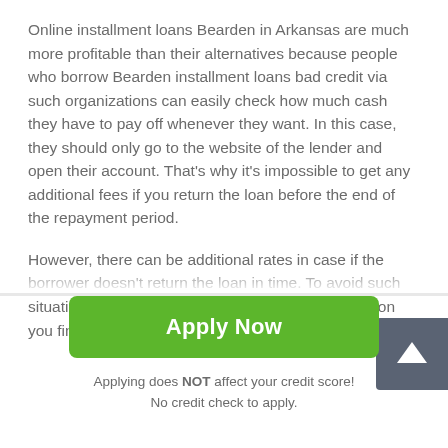Online installment loans Bearden in Arkansas are much more profitable than their alternatives because people who borrow Bearden installment loans bad credit via such organizations can easily check how much cash they have to pay off whenever they want. In this case, they should only go to the website of the lender and open their account. That's why it's impossible to get any additional fees if you return the loan before the end of the repayment period.
However, there can be additional rates in case if the borrower doesn't return the loan in time. To avoid such situations, recommended notifying the lender as soon you find out that you won't be able to pay off before the
[Figure (other): Scroll-to-top button: dark gray rounded square with white upward arrow icon]
Apply Now
Applying does NOT affect your credit score!
No credit check to apply.